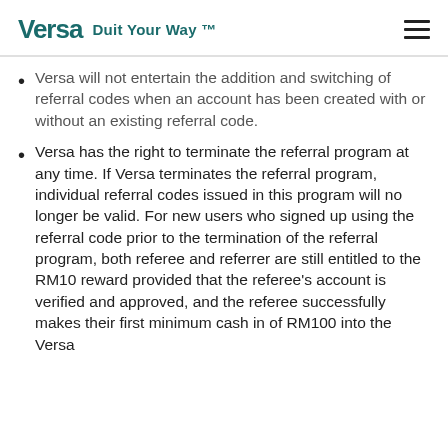Versa Duit Your Way ™
Versa will not entertain the addition and switching of referral codes when an account has been created with or without an existing referral code.
Versa has the right to terminate the referral program at any time. If Versa terminates the referral program, individual referral codes issued in this program will no longer be valid. For new users who signed up using the referral code prior to the termination of the referral program, both referee and referrer are still entitled to the RM10 reward provided that the referee's account is verified and approved, and the referee successfully makes their first minimum cash in of RM100 into the Versa